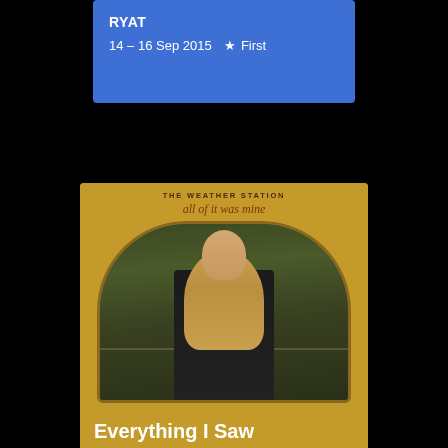RYAT
14 – 16 Sep 2015 ★ First
[Figure (photo): Album cover for 'all of it was mine' by The Weather Station showing a young woman with long blonde hair wearing a black top, with vintage golden-yellow border design and arched frame]
Everything I Saw
THE WEATHER STATION
4 – 11 Sep 2015 (with 9 people)